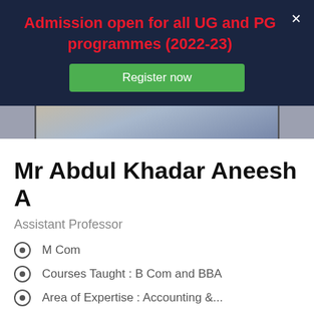Admission open for all UG and PG programmes (2022-23)
Register now
[Figure (photo): Partial photo of a person wearing a plaid shirt, cropped to show torso/shoulders area]
Mr Abdul Khadar Aneesh A
Assistant Professor
M Com
Courses Taught : B Com and BBA
Area of Expertise : Accounting &...